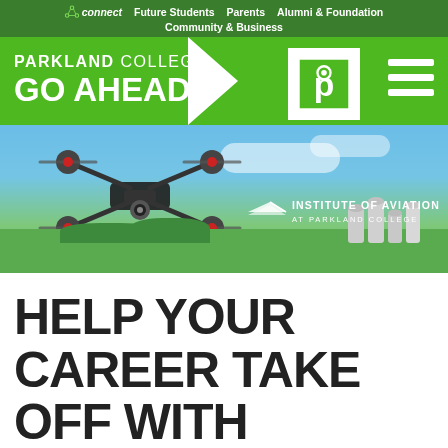connect  Future Students  Parents  Alumni & Foundation  Community & Business
[Figure (logo): Parkland College GO AHEAD logo bar with green background, chevron arrow, Parkland College P logo, and hamburger menu]
[Figure (photo): Drone (multicopter) flying against a blue sky and green landscape with grain silos in background. Institute of Aviation at Parkland College logo overlay on right side.]
HELP YOUR CAREER TAKE OFF WITH DRONE PILOT